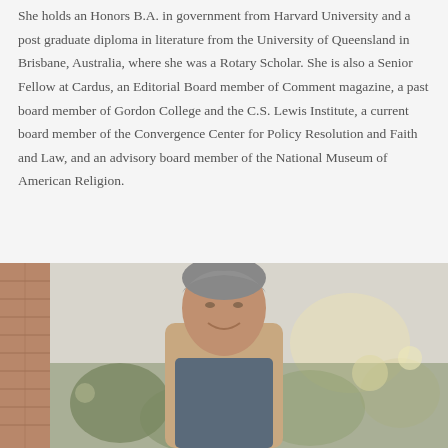She holds an Honors B.A. in government from Harvard University and a post graduate diploma in literature from the University of Queensland in Brisbane, Australia, where she was a Rotary Scholar. She is also a Senior Fellow at Cardus, an Editorial Board member of Comment magazine, a past board member of Gordon College and the C.S. Lewis Institute, a current board member of the Convergence Center for Policy Resolution and Faith and Law, and an advisory board member of the National Museum of American Religion.
[Figure (photo): Portrait photo of a middle-aged man with gray hair, smiling, photographed outdoors in front of a brick wall with blurred green foliage in the background.]